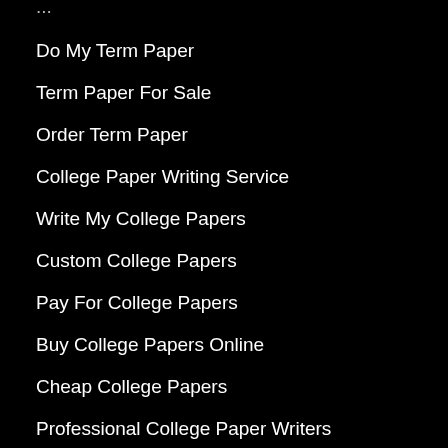Do My Term Paper
Term Paper For Sale
Order Term Paper
College Paper Writing Service
Write My College Papers
Custom College Papers
Pay For College Papers
Buy College Papers Online
Cheap College Papers
Professional College Paper Writers
[Figure (screenshot): Green WhatsApp Us button with WhatsApp logo icon, and a cyan chat bubble icon on the right side]
College Papers For Sale